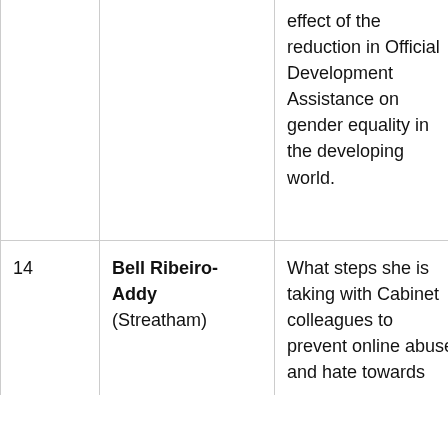|  |  |  |  |
| --- | --- | --- | --- |
|  |  | effect of the reduction in Official Development Assistance on gender equality in the developing world. |  |
| 14 | Bell Ribeiro-Addy (Streatham) | What steps she is taking with Cabinet colleagues to prevent online abuse and hate towards | Lab |